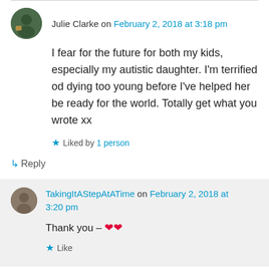Julie Clarke on February 2, 2018 at 3:18 pm
I fear for the future for both my kids, especially my autistic daughter. I'm terrified od dying too young before I've helped her be ready for the world. Totally get what you wrote xx
★ Liked by 1 person
↳ Reply
TakingItAStepAtATime on February 2, 2018 at 3:20 pm
Thank you – ❤❤
★ Like